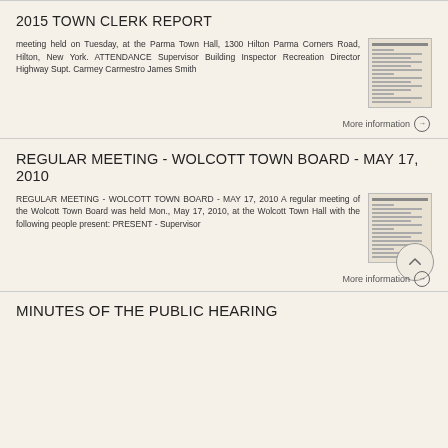2015 TOWN CLERK REPORT
meeting held on Tuesday, at the Parma Town Hall, 1300 Hilton Parma Corners Road, Hilton, New York. ATTENDANCE Supervisor Building Inspector Recreation Director Highway Supt. Carmey Carmestro James Smith
More information →
REGULAR MEETING - WOLCOTT TOWN BOARD - MAY 17, 2010
REGULAR MEETING - WOLCOTT TOWN BOARD - MAY 17, 2010 A regular meeting of the Wolcott Town Board was held Mon., May 17, 2010, at the Wolcott Town Hall with the following people present: PRESENT - Supervisor
More information →
MINUTES OF THE PUBLIC HEARING